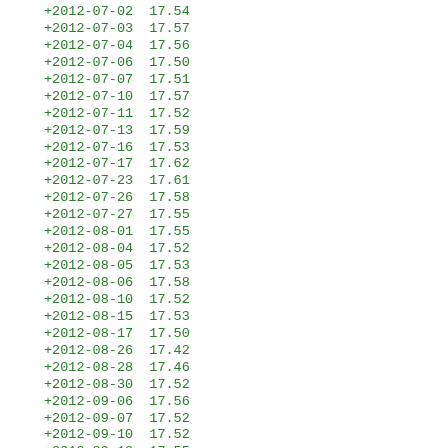| Date | Value |
| --- | --- |
| +2012-07-02 | 17.54 |
| +2012-07-03 | 17.57 |
| +2012-07-04 | 17.56 |
| +2012-07-06 | 17.50 |
| +2012-07-07 | 17.51 |
| +2012-07-10 | 17.57 |
| +2012-07-11 | 17.52 |
| +2012-07-13 | 17.59 |
| +2012-07-16 | 17.53 |
| +2012-07-17 | 17.62 |
| +2012-07-23 | 17.61 |
| +2012-07-26 | 17.58 |
| +2012-07-27 | 17.55 |
| +2012-08-01 | 17.55 |
| +2012-08-04 | 17.52 |
| +2012-08-05 | 17.53 |
| +2012-08-06 | 17.58 |
| +2012-08-10 | 17.52 |
| +2012-08-15 | 17.53 |
| +2012-08-17 | 17.50 |
| +2012-08-26 | 17.42 |
| +2012-08-28 | 17.46 |
| +2012-08-30 | 17.52 |
| +2012-09-06 | 17.56 |
| +2012-09-07 | 17.52 |
| +2012-09-10 | 17.52 |
| +2012-09-13 | 17.55 |
| +2012-09-14 | 17.55 |
| +2012-09-15 | 17.54 |
| +2012-09-22 | 17.57 |
| +2012-09-24 | 17.59 |
| +2012-09-29 | 17.62 |
| +2012-10-04 | 17.70 |